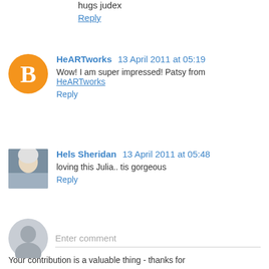hugs judex
Reply
HeARTworks  13 April 2011 at 05:19
Wow! I am super impressed! Patsy from HeARTworks
Reply
Hels Sheridan  13 April 2011 at 05:48
loving this Julia.. tis gorgeous
Reply
Enter comment
Your contribution is a valuable thing - thanks for taking the time!